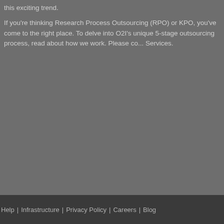this exciting trend.
If you're thinking Research Process Outsourcing (RPO) or KPO, you've come to the right place. To delve into O2I's unique 5-stage outsourcing process, read about how we work. Please co... Services.
Help | Infrastructure | Privacy Policy | Careers | Blog